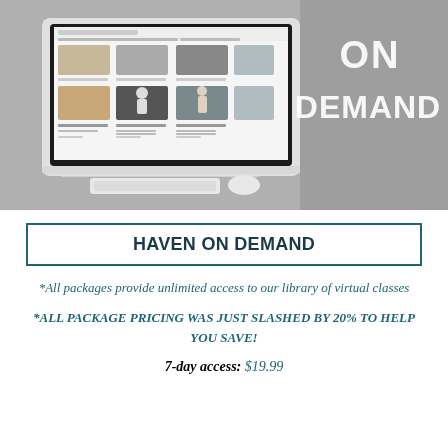[Figure (photo): Photo of an iMac computer monitor displaying a fitness/workout video streaming website with workout thumbnails, on a white desk with keyboard and mouse. Background shows gray wall with bold white text 'ON DEMAND'.]
HAVEN ON DEMAND
*All packages provide unlimited access to our library of virtual classes
*ALL PACKAGE PRICING WAS JUST SLASHED BY 20% TO HELP YOU SAVE!
7-day access: $19.99